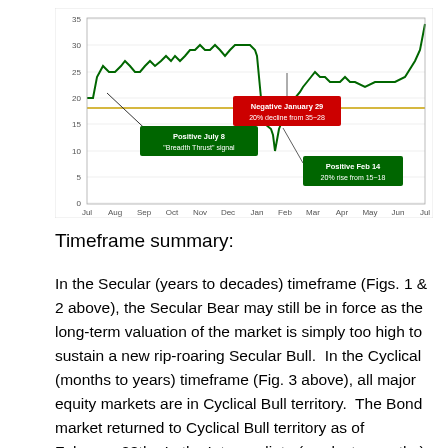[Figure (line-chart): Line chart showing oscillator with annotations: Positive July 8 Breadth Thrust signal (green box), Negative January 29 20% decline from 35-28 (red box), Positive Feb 14 20% rise from 15-18 (green box). Horizontal yellow reference line near 18.]
Timeframe summary:
In the Secular (years to decades) timeframe (Figs. 1 & 2 above), the Secular Bear may still be in force as the long-term valuation of the market is simply too high to sustain a new rip-roaring Secular Bull.  In the Cyclical (months to years) timeframe (Fig. 3 above), all major equity markets are in Cyclical Bull territory.  The Bond market returned to Cyclical Bull territory as of February 28th.  In the Intermediate (weeks to months) timeframe (Fig. 4 above), US equity markets remain in